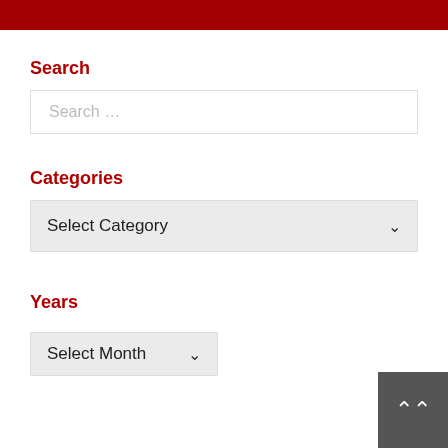[Figure (other): Dark red/maroon header bar across the top of the page]
Search
Search …
Categories
Select Category
Years
Select Month
[Figure (other): Dark grey back-to-top button with upward chevron arrow, bottom right corner]